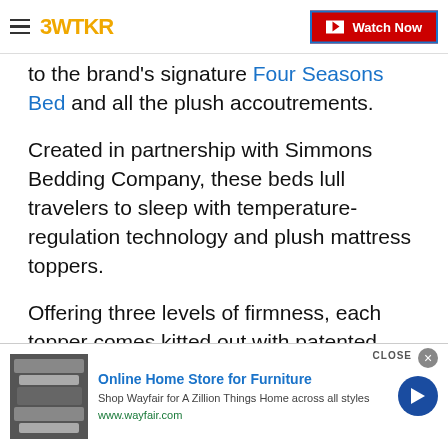3WTKR — Watch Now
to the brand's signature Four Seasons Bed and all the plush accoutrements.
Created in partnership with Simmons Bedding Company, these beds lull travelers to sleep with temperature-regulation technology and plush mattress toppers.
Offering three levels of firmness, each topper comes kitted out with patented GelTouch Foam for heat absorption, as well as a pocketed coil motion separation that absorbs motion and provides added support throughout the night.
[Figure (screenshot): Advertisement banner for Wayfair: Online Home Store for Furniture with furniture image, description text, and arrow button]